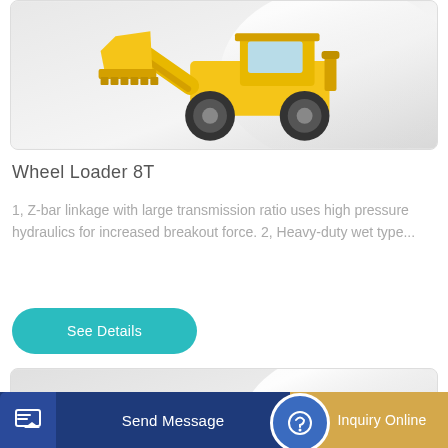[Figure (photo): Yellow wheel loader construction equipment with bucket raised, shown on white/grey gradient background]
Wheel Loader 8T
1, Z-bar linkage with large transmission ratio uses high pressure hydraulics for increased breakout force. 2, Heavy-duty wet type...
[Figure (illustration): See Details button - teal/cyan rounded rectangle button]
[Figure (photo): Yellow wheel loader construction equipment shown on grey gradient background, second product listing]
Send Message | Inquiry Online